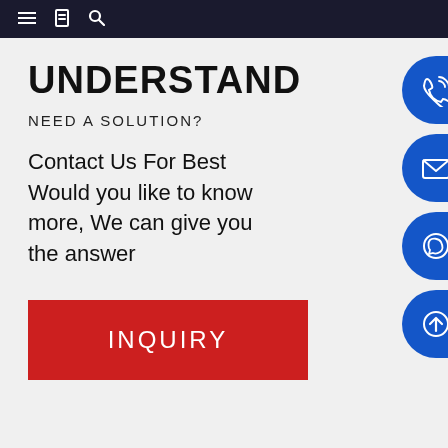Navigation bar with menu, bookmark, and search icons
UNDERSTAND
NEED A SOLUTION?
Contact Us For Best Would you like to know more, We can give you the answer
[Figure (infographic): Four blue pill-shaped buttons on the right side with icons: phone, envelope/email, WhatsApp, and upload/scroll-to-top arrow]
INQUIRY